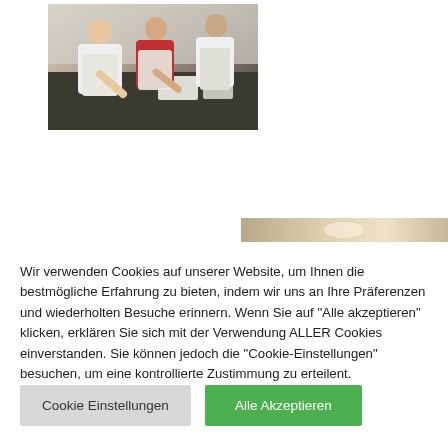[Figure (photo): Three women in white aprons working in a kitchen, cooking or preparing food on a dark countertop]
[Figure (photo): Partial banner strip visible at bottom of page background]
Wir verwenden Cookies auf unserer Website, um Ihnen die bestmögliche Erfahrung zu bieten, indem wir uns an Ihre Präferenzen und wiederholten Besuche erinnern. Wenn Sie auf "Alle akzeptieren" klicken, erklären Sie sich mit der Verwendung ALLER Cookies einverstanden. Sie können jedoch die "Cookie-Einstellungen" besuchen, um eine kontrollierte Zustimmung zu erteilent.
Cookie Einstellungen
Alle Akzeptieren